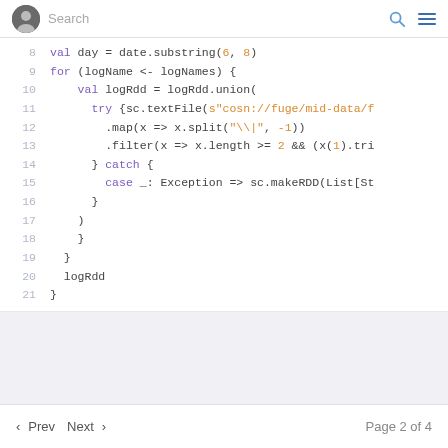Search
[Figure (screenshot): Code block showing Scala code lines 8-21 with syntax highlighting]
< Prev  Next >   Page 2 of 4